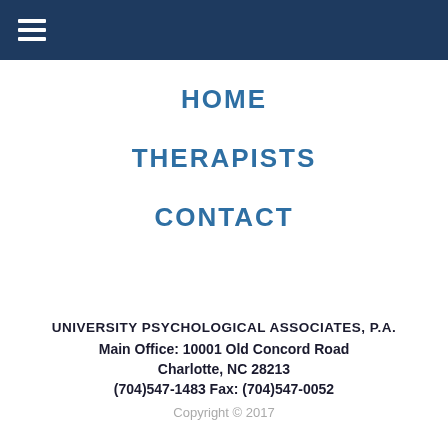≡ (navigation menu icon)
HOME
THERAPISTS
CONTACT
UNIVERSITY PSYCHOLOGICAL ASSOCIATES, P.A.
Main Office:  10001 Old Concord Road
Charlotte, NC 28213
(704)547-1483   Fax:  (704)547-0052
Copyright © 2017